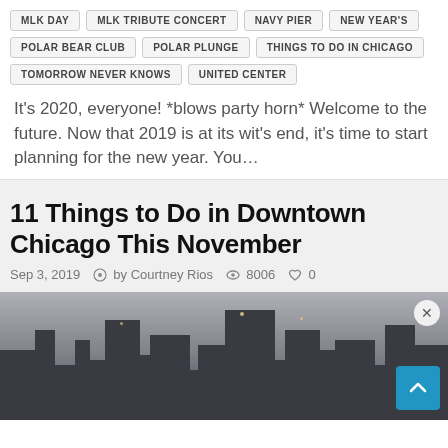MLK DAY
MLK TRIBUTE CONCERT
NAVY PIER
NEW YEAR'S
POLAR BEAR CLUB
POLAR PLUNGE
THINGS TO DO IN CHICAGO
TOMORROW NEVER KNOWS
UNITED CENTER
It's 2020, everyone! *blows party horn* Welcome to the future. Now that 2019 is at its wit's end, it's time to start planning for the new year. You…
11 Things to Do in Downtown Chicago This November
Sep 3, 2019   by Courtney Rios   8006   0
[Figure (photo): City night scene with building silhouettes and lights, showing downtown Chicago]